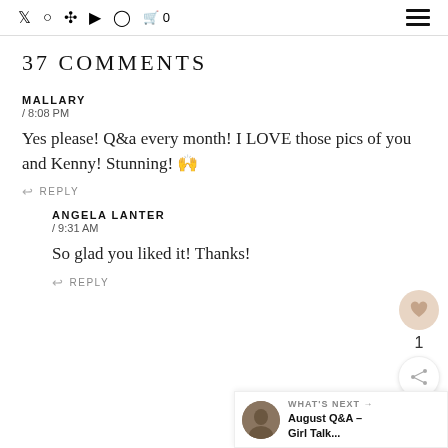Social icons: Twitter, Instagram, Pinterest, YouTube, Facebook, Cart 0 | Hamburger menu
37 COMMENTS
MALLARY
/ 8:08 PM
Yes please! Q&a every month! I LOVE those pics of you and Kenny! Stunning! 🙌
↩ REPLY
ANGELA LANTER
/ 9:31 AM
So glad you liked it! Thanks!
↩ REPLY